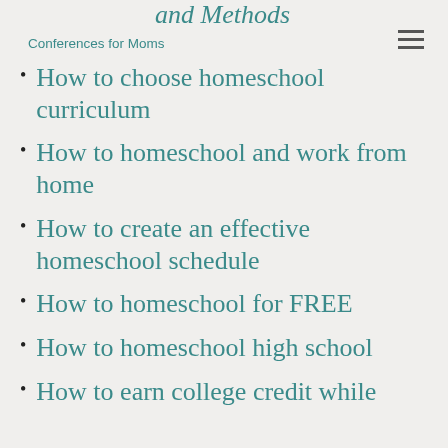Conferences for Moms
How to choose homeschool curriculum
How to homeschool and work from home
How to create an effective homeschool schedule
How to homeschool for FREE
How to homeschool high school
How to earn college credit while…